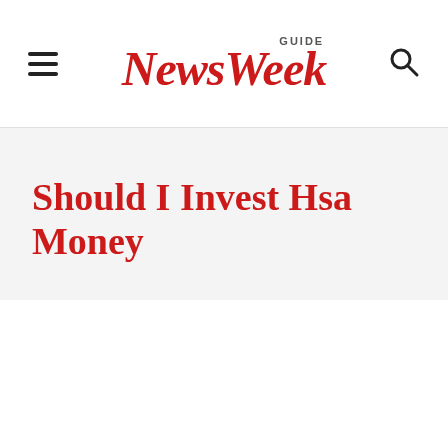NewsWeek GUIDE
Should I Invest Hsa Money